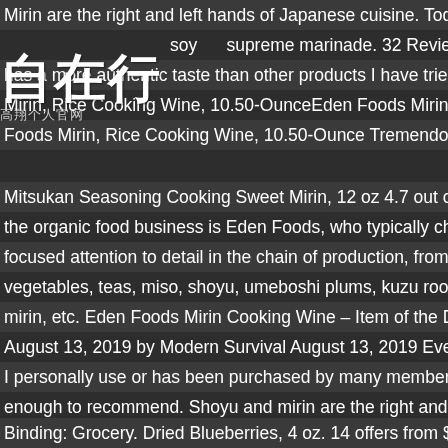Mirin are the right and left hands of Japanese cuisine. Today, genuine so
some soy supreme marinade. 32 Reviews | Write a Review. Read
has a more authentic taste than other products I have tried. Eden Foods.
Mirin, Rice Cooking Wine, 10.50-OunceEden Foods Mirin, Rice Cooking
Foods Mirin, Rice Cooking Wine, 10.50-Ounce Tremendous Meals - Do t
Mitsukan Seasoning Cooking Sweet Mirin, 12 oz 4.7 out of 5 stars 220. A
the organic food business is Eden Foods, who typically champion the ca
focused attention to detail in the chain of production, from orchard to pac
vegetables, teas, miso, shoyu, umeboshi plums, kuzu root starch, rice vi
mirin, etc. Eden Foods Mirin Cooking Wine – Item of the Day The Surviva
August 13, 2019 by Modern Survival August 13, 2019 Every day I bring y
I personally use or has been purchased by many members of the audien
enough to recommend. Shoyu and mirin are the right and left hands of Ja
honest and unbiased product reviews from our users. Eden Foods Mirin
Binding: Grocery. Dried Blueberries, 4 oz. 14 offers from $11.92. Eden F
Specialty Items-Mirin (Rice Cooking Wine), 300ml 4.7 out of 5 stars 202.
[Figure (other): Watermark overlay with Chinese characters reading 自在行 and subtitle 高翔个人官网]